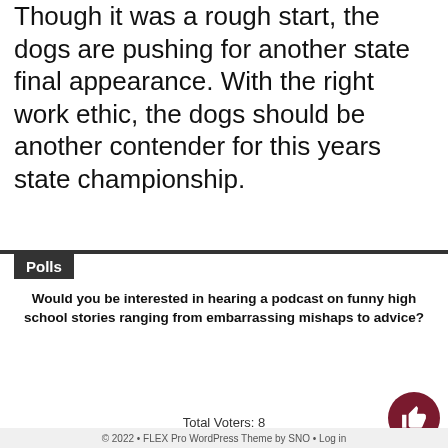Though it was a rough start, the dogs are pushing for another state final appearance. With the right work ethic, the dogs should be another contender for this years state championship.
Polls
Would you be interested in hearing a podcast on funny high school stories ranging from embarrassing mishaps to advice?
[Figure (bar-chart): Poll Results]
Total Voters: 8
Polls Archive
© 2022 • FLEX Pro WordPress Theme by SNO • Log in